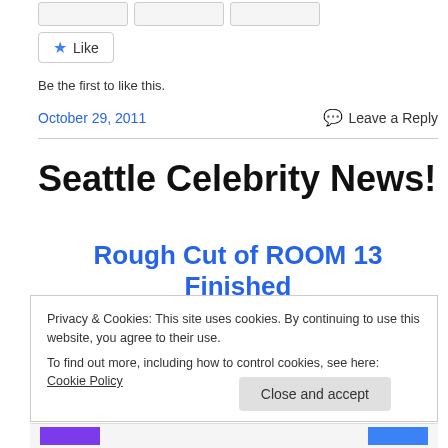[Figure (other): Three small button-like rectangles at top]
[Figure (other): Like button with blue star icon]
Be the first to like this.
October 29, 2011
Leave a Reply
Seattle Celebrity News!
Rough Cut of ROOM 13 Finished
Privacy & Cookies: This site uses cookies. By continuing to use this website, you agree to their use.
To find out more, including how to control cookies, see here: Cookie Policy
Close and accept